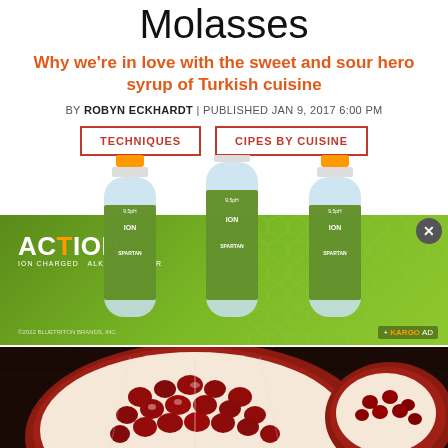Molasses
Why we're in love with the sweet and sour hero syrup of Turkish cuisine
BY ROBYN ECKHARDT | PUBLISHED JAN 9, 2017 6:00 PM
[Figure (screenshot): Navigation buttons: TECHNIQUES and RECIPES BY CUISINE with orange-outlined borders]
[Figure (photo): Advertisement for ACTION Ion Charged Alkaline Water showing three green water bottles (Spartan brand) against green hexagon background. Logo reads ACTION ION CHARGED ALKALINE WATER. Copyright 2022 Bluetriton Brands Inc. + KARGO AD badge.]
[Figure (photo): Close-up photograph of a halved pomegranate showing red seeds/arils on a dark wooden surface]